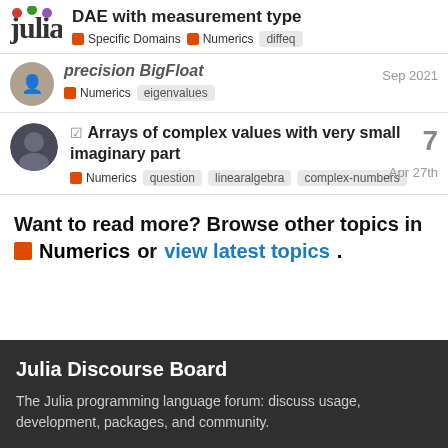DAE with measurement type — Specific Domains | Numerics | diffeq
precision BigFloat
Numerics  eigenvalues  Sep 2021
☑ Arrays of complex values with very small imaginary part  7
Numerics  question  linearalgebra  complex-numbers  Apr 27th
Want to read more? Browse other topics in Numerics or view latest topics.
Julia Discourse Board
The Julia programming language forum: discuss usage, development, packages, and community.